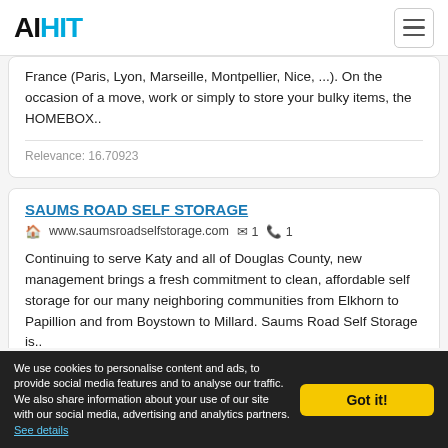AIHIT
France (Paris, Lyon, Marseille, Montpellier, Nice, ...). On the occasion of a move, work or simply to store your bulky items, the HOMEBOX..
Relevance: 16.70923
SAUMS ROAD SELF STORAGE
www.saumsroadselfstorage.com  1  1
Continuing to serve Katy and all of Douglas County, new management brings a fresh commitment to clean, affordable self storage for our many neighboring communities from Elkhorn to Papillion and from Boystown to Millard. Saums Road Self Storage is..
We use cookies to personalise content and ads, to provide social media features and to analyse our traffic. We also share information about your use of our site with our social media, advertising and analytics partners. See details